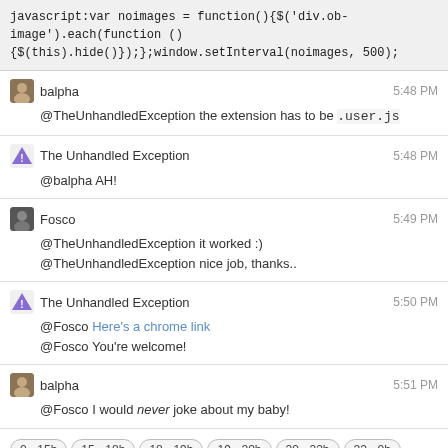javascript:var noimages = function(){$('div.ob-image').each(function (){$(this).hide()});};window.setInterval(noimages, 500);
balpha 5:48 PM @TheUnhandledException the extension has to be .user.js
The Unhandled Exception 5:48 PM @balpha AH!
Fosco 5:49 PM @TheUnhandledException it worked :) @TheUnhandledException nice job, thanks..
The Unhandled Exception 5:50 PM @Fosco Here's a chrome link @Fosco You're welcome!
balpha 5:51 PM @Fosco I would never joke about my baby!
0 - 15h  15 - 18h  18 - 19h  19 - 20h  20 - 22h  22 - 0h
← prev day  next day →  last day »
join this room